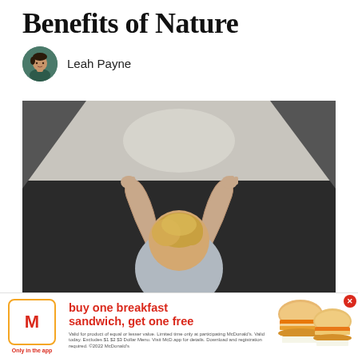Benefits of Nature
Leah Payne
[Figure (photo): Overhead view of a young child/toddler with blond hair lying on a dark surface, arms raised up toward a light-colored wall or surface, wearing a grey long-sleeve shirt.]
[Figure (other): McDonald's advertisement banner: 'buy one breakfast sandwich, get one free' with McDonald's golden arches logo, 'Only in the app' text, fine print about validity, and images of two breakfast sandwiches. Has a red close button.]